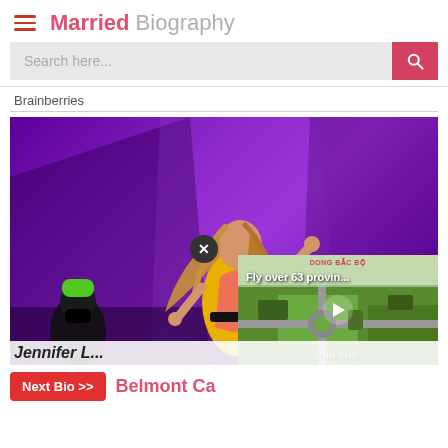Married Biography
Search here...
Brainberries
[Figure (photo): A female performer in a yellow and pink outfit dancing on stage with a purple lighting backdrop, surrounded by backup dancers wearing black masks and neon outfits. An X close button is visible over the image, and a video overlay in the bottom-right shows an aerial view labeled 'Fly over 63 provin...' with 'DONG BAC BO' and 'PHU THO' labels.]
Next Bio >>
Belmont Ca